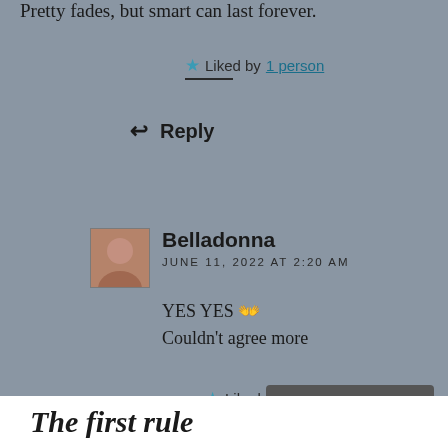Pretty fades, but smart can last forever.
★ Liked by 1 person
↩ Reply
Belladonna
JUNE 11, 2022 AT 2:20 AM
YES YES 👐
Couldn't agree more
★ Liked by 1 person
Privacy & Cookies: This site uses cookies. By continuing to use this website, you agree to their use.
To find out more, including how to control cookies, see here:
Cookie Policy
Close and accept
The first rule